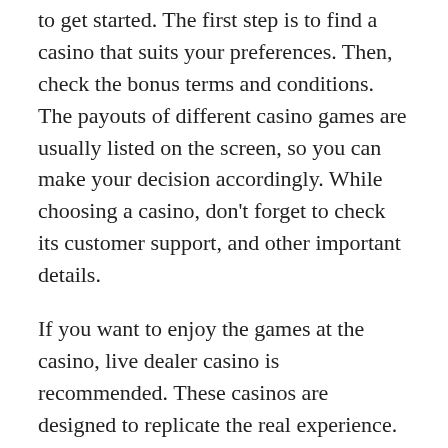to get started. The first step is to find a casino that suits your preferences. Then, check the bonus terms and conditions. The payouts of different casino games are usually listed on the screen, so you can make your decision accordingly. While choosing a casino, don't forget to check its customer support, and other important details.
If you want to enjoy the games at the casino, live dealer casino is recommended. These casinos are designed to replicate the real experience. They also offer a wide range of game options, including poker, bingo, and game show games like Monopoly. The software provider is essential in a live casino online as it ensures that the games are fair and controlled. This will allow you to enjoy playing casino online in a much more comfortable environment. There are many advantages to live casino games.